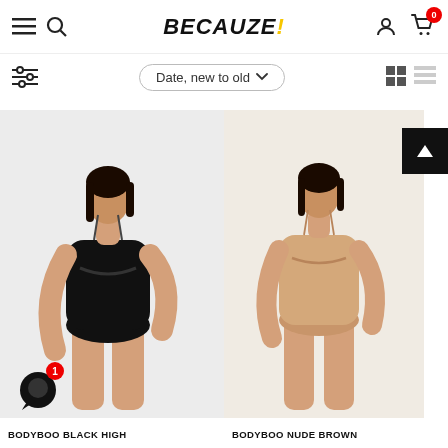BECAUZE! — navigation header with menu, search, account, and cart icons
Date, new to old
[Figure (photo): Woman wearing black high-cut bodysuit shapewear]
BODYBOO BLACK HIGH
[Figure (photo): Woman wearing nude brown bodysuit shapewear]
BODYBOO NUDE BROWN